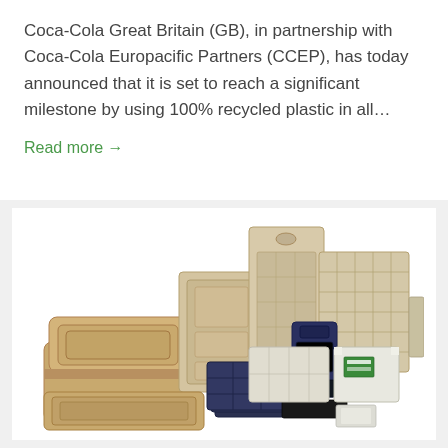Coca-Cola Great Britain (GB), in partnership with Coca-Cola Europacific Partners (CCEP), has today announced that it is set to reach a significant milestone by using 100% recycled plastic in all...
Read more →
[Figure (photo): A collection of various packaging products including beige/kraft molded fiber clamshell food containers, plastic trays, dark navy blue plastic organizer trays, white molded packaging with a green-labeled item, and other packaging components arranged on a white background.]